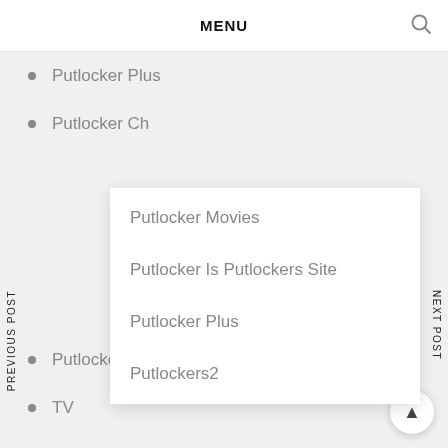MENU
Putlocker Plus
Putlocker Ch
Putlocker Movies
Putlocker Is Putlockers Site
Putlocker Plus
Putlockers2
Putlocker Today
TV
Putlocker AC